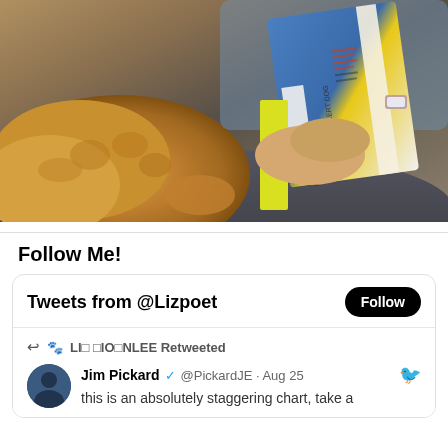[Figure (photo): A person sitting with a fluffy golden/brown dog on their lap, holding open a children's book. The book appears to be about dogs, with a yellow/green spine visible.]
Follow Me!
Tweets from @Lizpoet
LI□ □IO□NLEE Retweeted
Jim Pickard @PickardJE · Aug 25 this is an absolutely staggering chart, take a